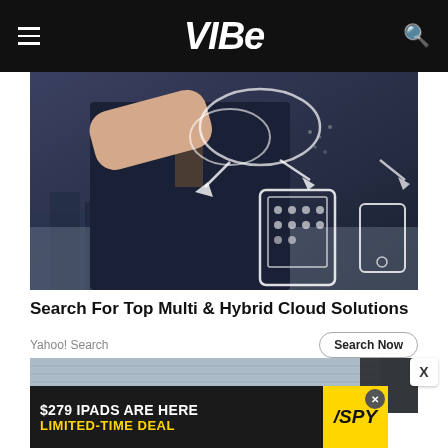VIBE
[Figure (photo): Person in dark suit drawing cloud computing and device connection diagram on glass surface, with city skyline visible in background]
Search For Top Multi & Hybrid Cloud Solutions
Yahoo! Search
Search Now
[Figure (photo): Partial view of a room interior with wooden table]
[Figure (infographic): $279 IPADS ARE HERE LIMITED-TIME DEAL advertisement banner with SPY logo]